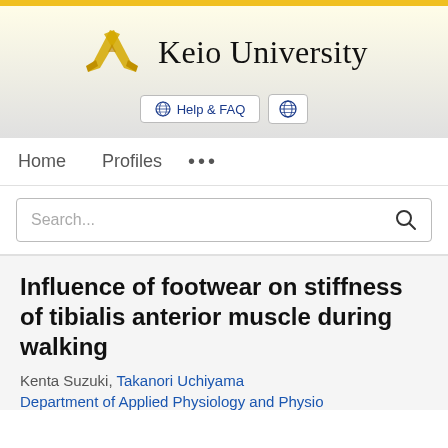[Figure (logo): Keio University logo with crossed pens in gold/yellow and university name in serif font]
Help & FAQ
Home   Profiles   ...
Search...
Influence of footwear on stiffness of tibialis anterior muscle during walking
Kenta Suzuki, Takanori Uchiyama
Department of Applied Physiology and Physiology